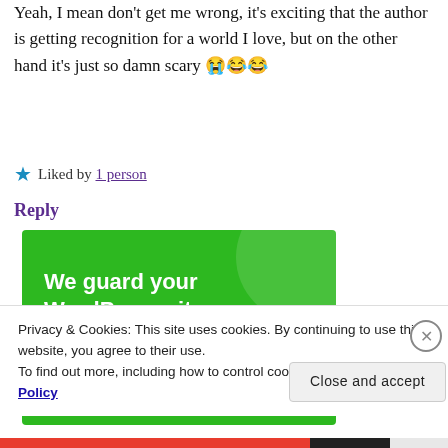Yeah, I mean don't get me wrong, it's exciting that the author is getting recognition for a world I love, but on the other hand it's just so damn scary 😭😂😂
★ Liked by 1 person
Reply
[Figure (infographic): Green advertisement banner reading 'We guard your WordPress site. You run your business.']
Privacy & Cookies: This site uses cookies. By continuing to use this website, you agree to their use.
To find out more, including how to control cookies, see here: Cookie Policy
Close and accept